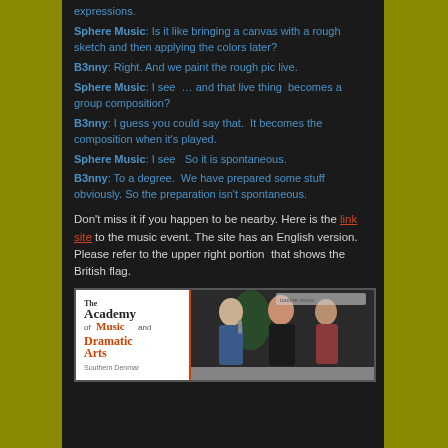expressions.
Sphere Music: Is it like bringing a canvas with a rough sketch and then applying the colors later?
B3nny: Right. And we paint the rough pic live.
Sphere Music: I see … and that live thing  becomes a group composition?
B3nny: I guess you could say that.  It becomes the composition when it's played.
Sphere Music: I see   So it is spontaneous.
B3nny: To a degree.  We have prepared some stuff obviously. So the preparation isn't spontaneous.
Don't miss it if you happen to be nearby. Here is the link site to the music event. The site has an English version. Please refer to the upper right portion  that shows the British flag.
[Figure (photo): The Academy of Music and Dramatic Arts Southern Denmark website banner with people at a music event]